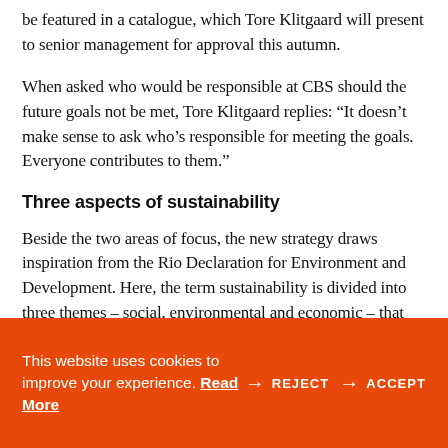be featured in a catalogue, which Tore Klitgaard will present to senior management for approval this autumn.
When asked who would be responsible at CBS should the future goals not be met, Tore Klitgaard replies: “It doesn’t make sense to ask who’s responsible for meeting the goals. Everyone contributes to them.”
Three aspects of sustainability
Beside the two areas of focus, the new strategy draws inspiration from the Rio Declaration for Environment and Development. Here, the term sustainability is divided into three themes – social, environmental and economic – that
This website uses cookies to improve your experience. Read More → REJECT → ACCEPT